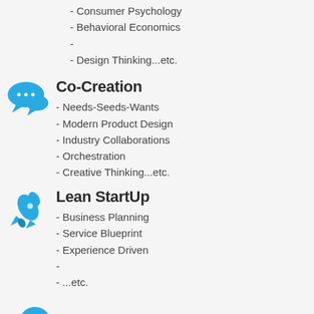- Consumer Psychology
- Behavioral Economics
-
- Design Thinking...etc.
Co-Creation
- Needs-Seeds-Wants
- Modern Product Design
- Industry Collaborations
- Orchestration
- Creative Thinking...etc.
Lean StartUp
- Business Planning
- Service Blueprint
- Experience Driven
-
- ...etc.